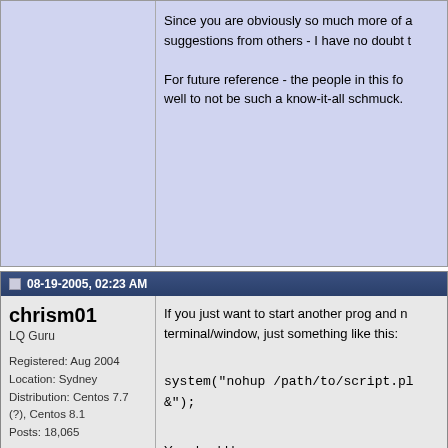Since you are obviously so much more of a... suggestions from others - I have no doubt...
For future reference - the people in this for... well to not be such a know-it-all schmuck.
08-19-2005, 02:23 AM
chrism01
LQ Guru
Registered: Aug 2004
Location: Sydney
Distribution: Centos 7.7 (?), Centos 8.1
Posts: 18,065
Rep:
If you just want to start another prog and ne... terminal/window, just something like this:
system("nohup /path/to/script.pl &");
You should have
#!/usr/bin/perl -w
as the first line in the script, so you don't ha...